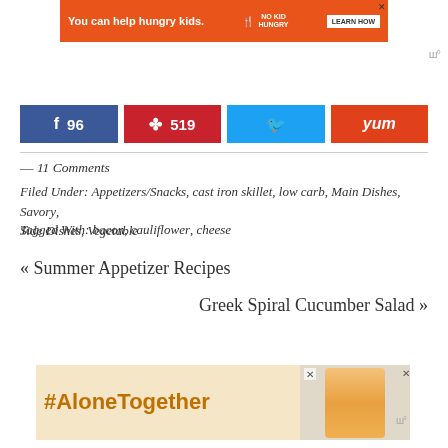[Figure (infographic): Orange advertisement banner: 'You can help hungry kids.' with No Kid Hungry logo and Learn How button]
[Figure (logo): Wunderkind logo (w with degree symbol) top right]
[Figure (infographic): Social share buttons: Facebook 96, Pinterest 519, Twitter, Yummly]
— 11 Comments
Filed Under: Appetizers/Snacks, cast iron skillet, low carb, Main Dishes, Savory, Side Dishes, Vegetable
Tagged With: bacon, cauliflower, cheese
« Summer Appetizer Recipes
Greek Spiral Cucumber Salad »
[Figure (infographic): #AloneTogether advertisement with person image]